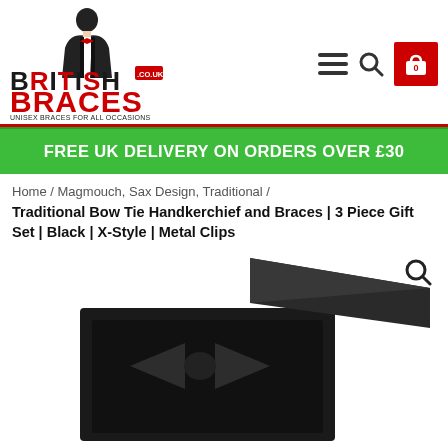[Figure (logo): British Braces .co.uk logo with man figure in black and red, text 'UNISEX BRACES FOR ALL OCCASIONS']
FREE UK DELIVERY ON ORDERS OVER £30
Home / Magmouch, Sax Design, Traditional /
Traditional Bow Tie Handkerchief and Braces | 3 Piece Gift Set | Black | X-Style | Metal Clips
[Figure (photo): Black gift box open showing a black bow tie inside, dark background]